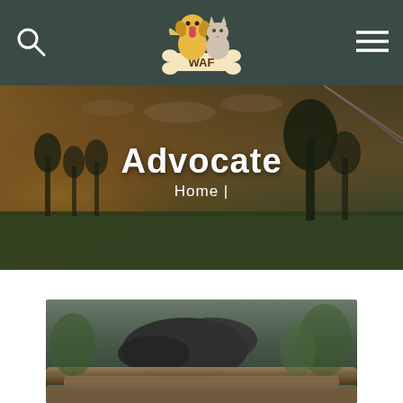[Figure (logo): WAF logo with cartoon dog and cat sitting on a bone, text WAF on the bone]
[Figure (photo): Search icon (magnifying glass) in top left of dark green header]
[Figure (photo): Hamburger menu icon in top right of dark green header]
[Figure (photo): Landscape photo hero banner showing a field with trees at sunset/dusk with golden hour light]
Advocate
Home |
[Figure (photo): Close-up photo of a dark grey/black dog or animal resting on wooden logs]